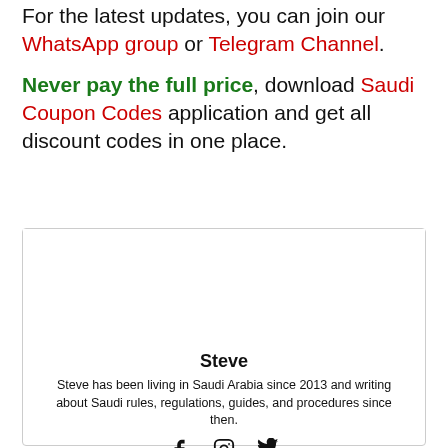For the latest updates, you can join our WhatsApp group or Telegram Channel.
Never pay the full price, download Saudi Coupon Codes application and get all discount codes in one place.
[Figure (other): Author card with photo area, name Steve, bio text, and social media icons (Facebook, Instagram, Twitter)]